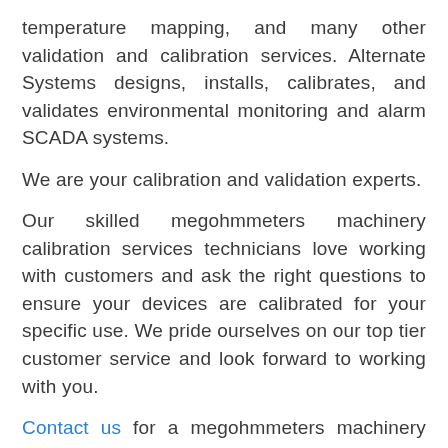temperature mapping, and many other validation and calibration services. Alternate Systems designs, installs, calibrates, and validates environmental monitoring and alarm SCADA systems.
We are your calibration and validation experts.
Our skilled megohmmeters machinery calibration services technicians love working with customers and ask the right questions to ensure your devices are calibrated for your specific use. We pride ourselves on our top tier customer service and look forward to working with you.
Contact us for a megohmmeters machinery calibration services consultation.